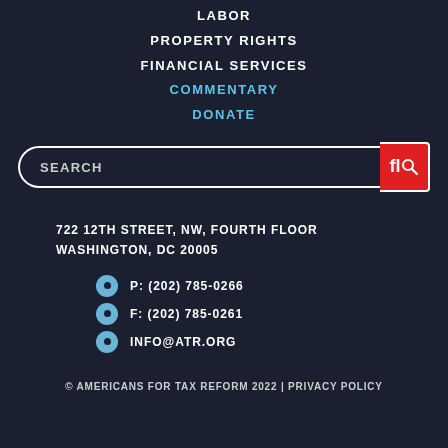LABOR
PROPERTY RIGHTS
FINANCIAL SERVICES
COMMENTARY
DONATE
SEARCH
722 12TH STREET, NW, FOURTH FLOOR
WASHINGTON, DC 20005
P: (202) 785-0266
F: (202) 785-0261
INFO@ATR.ORG
© AMERICANS FOR TAX REFORM 2022 | PRIVACY POLICY